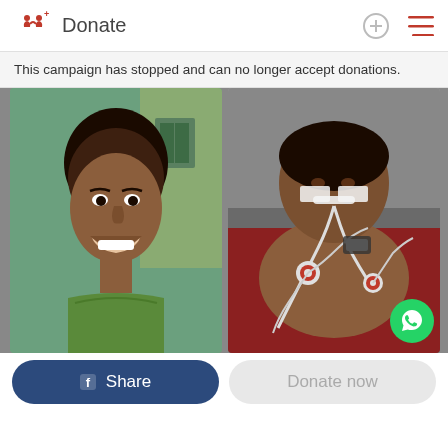Donate
This campaign has stopped and can no longer accept donations.
[Figure (photo): Two side-by-side photos: left shows a young man smiling outdoors; right shows the same person in a hospital bed with medical tubes and ECG electrodes attached.]
Share   Donate now